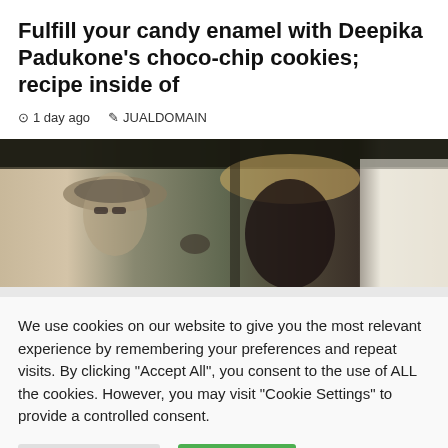Fulfill your candy enamel with Deepika Padukone's choco-chip cookies; recipe inside of
1 day ago   JUALDOMAIN
[Figure (photo): Outdoor photo of two people, one wearing a hat with wide brim (right, dark clothing) and one wearing a striped hat (left, with sunglasses), appearing to be in conversation or exchanging something under a canopy or awning.]
We use cookies on our website to give you the most relevant experience by remembering your preferences and repeat visits. By clicking "Accept All", you consent to the use of ALL the cookies. However, you may visit "Cookie Settings" to provide a controlled consent.
Cookie Settings   Accept All